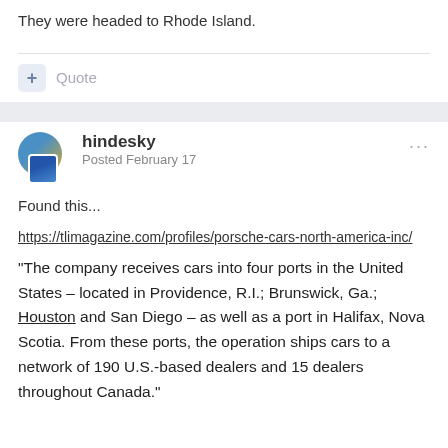They were headed to Rhode Island.
Quote
hindesky
Posted February 17
Found this...
https://tlimagazine.com/profiles/porsche-cars-north-america-inc/
"The company receives cars into four ports in the United States – located in Providence, R.I.; Brunswick, Ga.; Houston and San Diego – as well as a port in Halifax, Nova Scotia. From these ports, the operation ships cars to a network of 190 U.S.-based dealers and 15 dealers throughout Canada."